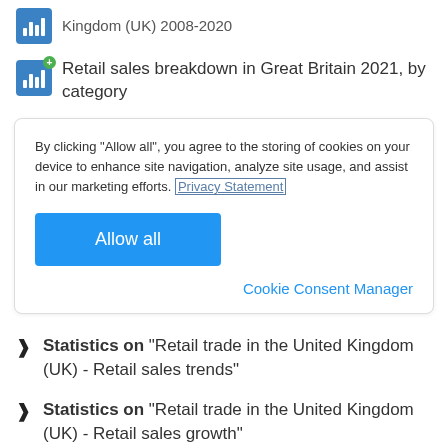Kingdom (UK) 2008-2020
Retail sales breakdown in Great Britain 2021, by category
By clicking “Allow all”, you agree to the storing of cookies on your device to enhance site navigation, analyze site usage, and assist in our marketing efforts. Privacy Statement
Allow all
Cookie Consent Manager
Statistics on “Retail trade in the United Kingdom (UK) - Retail sales trends”
Statistics on “Retail trade in the United Kingdom (UK) - Retail sales growth”